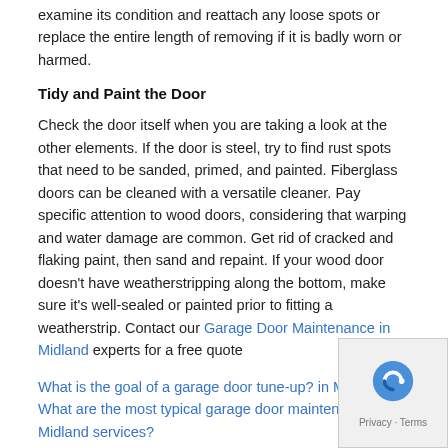examine its condition and reattach any loose spots or replace the entire length of removing if it is badly worn or harmed.
Tidy and Paint the Door
Check the door itself when you are taking a look at the other elements. If the door is steel, try to find rust spots that need to be sanded, primed, and painted. Fiberglass doors can be cleaned with a versatile cleaner. Pay specific attention to wood doors, considering that warping and water damage are common. Get rid of cracked and flaking paint, then sand and repaint. If your wood door doesn't have weatherstripping along the bottom, make sure it's well-sealed or painted prior to fitting a weatherstrip. Contact our Garage Door Maintenance in Midland experts for a free quote
What is the goal of a garage door tune-up? in Midland
What are the most typical garage door maintenance in Midland services?
Share
ASAP Garage Doors